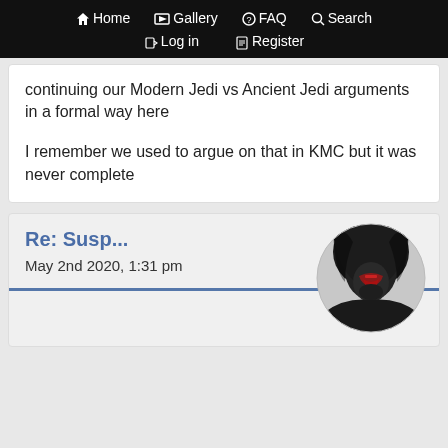Home  Gallery  FAQ  Search  Log in  Register
continuing our Modern Jedi vs Ancient Jedi arguments in a formal way here

I remember we used to argue on that in KMC but it was never complete
Re: Susp...
May 2nd 2020, 1:31 pm
[Figure (photo): Avatar of a hooded dark figure with a red mask, resembling a Star Wars character (Darth Revan), circular crop]